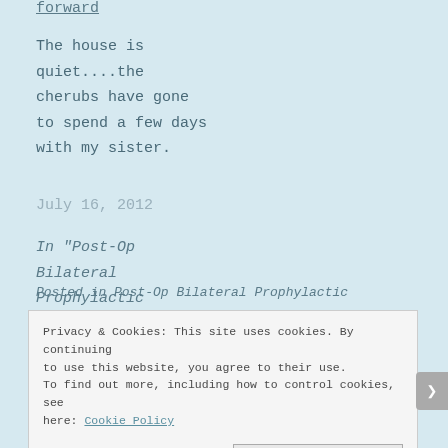forward
The house is quiet....the cherubs have gone to spend a few days with my sister.
July 16, 2012
In "Post-Op Bilateral Prophylactic Mastectomy"
Posted in Post-Op Bilateral Prophylactic
Privacy & Cookies: This site uses cookies. By continuing to use this website, you agree to their use. To find out more, including how to control cookies, see here: Cookie Policy
Close and accept